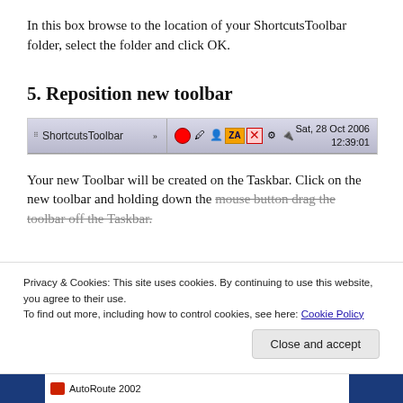In this box browse to the location of your ShortcutsToolbar folder, select the folder and click OK.
5. Reposition new toolbar
[Figure (screenshot): Screenshot of a Windows taskbar showing a ShortcutsToolbar with icons and a date/time display reading Sat, 28 Oct 2006 12:39:01]
Your new Toolbar will be created on the Taskbar. Click on the new toolbar and holding down the mouse button drag the toolbar off the Taskbar.
Privacy & Cookies: This site uses cookies. By continuing to use this website, you agree to their use.
To find out more, including how to control cookies, see here: Cookie Policy
Close and accept
[Figure (screenshot): Partial bottom taskbar showing AutoRoute 2002 button]